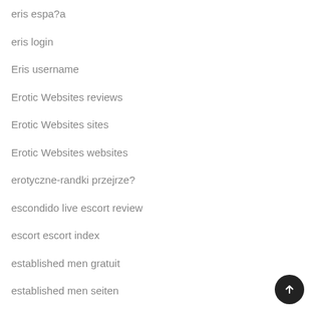eris espa?a
eris login
Eris username
Erotic Websites reviews
Erotic Websites sites
Erotic Websites websites
erotyczne-randki przejrze?
escondido live escort review
escort escort index
established men gratuit
established men seiten
Established Men visitors
established-men-overzicht Review
ethiopia personals dating